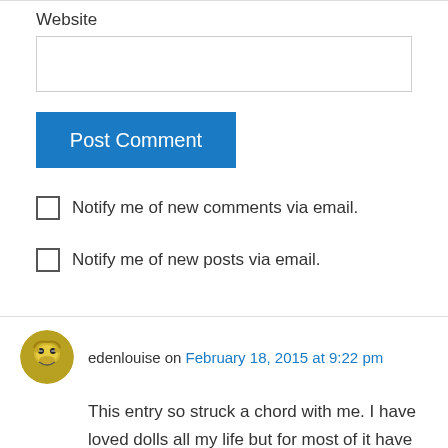Website
Post Comment
Notify me of new comments via email.
Notify me of new posts via email.
edenlouise on February 18, 2015 at 9:22 pm
This entry so struck a chord with me. I have loved dolls all my life but for most of it have hidden my collections in bags, boxes, in my closet. When I got my first collectable baby doll